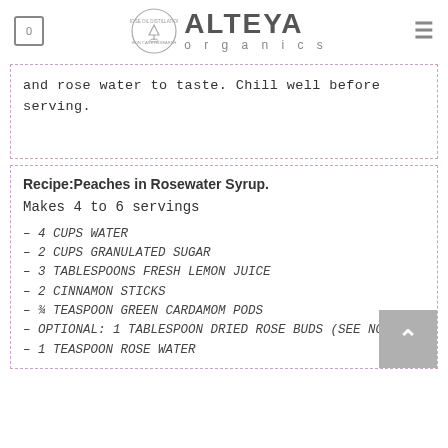Alteya Organics
and rose water to taste. Chill well before serving.
Recipe:Peaches in Rosewater Syrup.
Makes 4 to 6 servings
– 4 CUPS WATER
– 2 CUPS GRANULATED SUGAR
– 3 TABLESPOONS FRESH LEMON JUICE
– 2 CINNAMON STICKS
– ¾ TEASPOON GREEN CARDAMOM PODS
– OPTIONAL: 1 TABLESPOON DRIED ROSE BUDS (SEE NOTE)
– 1 TEASPOON ROSE WATER